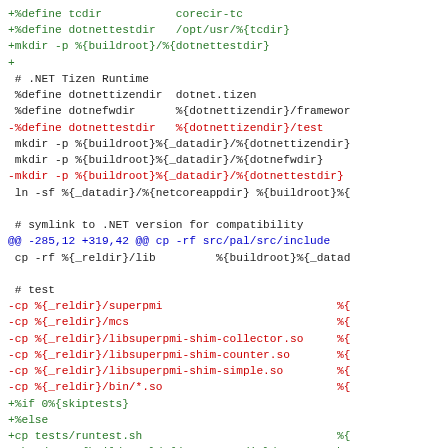[Figure (screenshot): A code diff view showing additions (green lines starting with +), deletions (red lines starting with -), context lines (black), and diff header (blue). The code is from a spec file dealing with .NET Tizen runtime installation and test setup.]